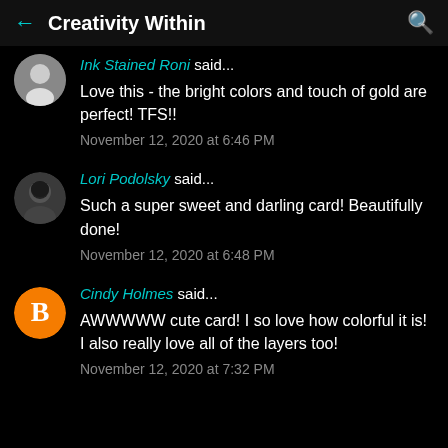Creativity Within
Ink Stained Roni said...
Love this - the bright colors and touch of gold are perfect! TFS!!
November 12, 2020 at 6:46 PM
Lori Podolsky said...
Such a super sweet and darling card! Beautifully done!
November 12, 2020 at 6:48 PM
Cindy Holmes said...
AWWWWW cute card! I so love how colorful it is! I also really love all of the layers too!
November 12, 2020 at 7:32 PM